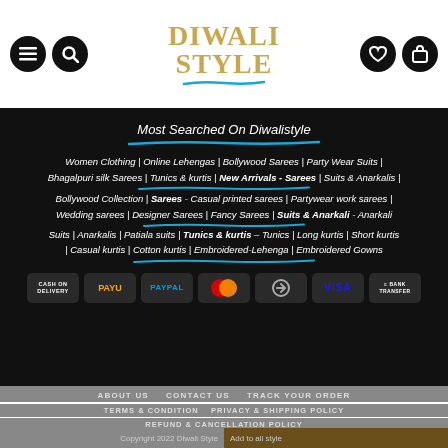[Figure (screenshot): Website header with hamburger menu icon, search icon, Diwali Style logo in gold, heart icon, and shopping bag icon on white background]
Most Searched On Diwalistyle
Women Clothing | Online Lehengas | Bollywood Sarees | Party Wear Suits | Bhagalpuri silk Sarees | Tunics & kurtis | New Arrivals - Sarees | Suits & Anarkalis | Bollywood Collection | Sarees - Casual printed sarees | Partywear work sarees | Wedding sarees | Designer Sarees | Fancy Sarees | Suits & Anarkali - Anarkali Suits | Anarkalis | Patiala suits | Tunics & kurtis – Tunics | Long kurtis | Short kurtis | Casual kurtis | Cotton kurtis | Embroidered-Lehenga | Embroidered Gowns
[Figure (screenshot): Payment method badges: Cash on Delivery, PayU, PayPal, MasterCard, (card icon), VISA, Bank Transfer]
ABOUT US   CONTACT US   TRACK YOUR ORDER   TERMS & CONDITION   PRIVACY & SHIPPING POLICY   REFUND & CANCELLATION POLICY
Copyright 2022 Diwali Style   Add to all style